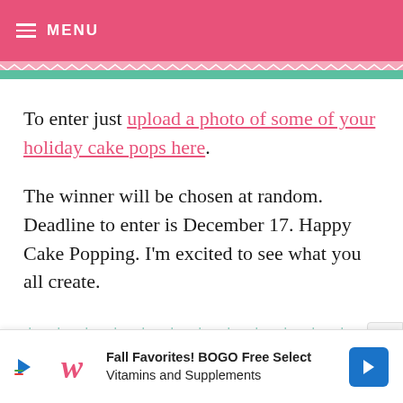MENU
To enter just upload a photo of some of your holiday cake pops here.
The winner will be chosen at random. Deadline to enter is December 17. Happy Cake Popping. I'm excited to see what you all create.
[Figure (illustration): Decorative row of green snowflake/asterisk symbols as a divider]
Here's something I want to share with some of m…
[Figure (screenshot): Advertisement banner: Fall Favorites! BOGO Free Select Vitamins and Supplements — Walgreens ad with play button, W logo, and blue arrow button. X close button.]